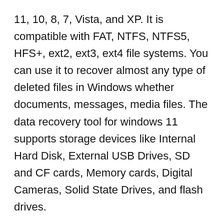11, 10, 8, 7, Vista, and XP. It is compatible with FAT, NTFS, NTFS5, HFS+, ext2, ext3, ext4 file systems. You can use it to recover almost any type of deleted files in Windows whether documents, messages, media files. The data recovery tool for windows 11 supports storage devices like Internal Hard Disk, External USB Drives, SD and CF cards, Memory cards, Digital Cameras, Solid State Drives, and flash drives.
There could be several occasions when one might lose data. It could be Accidentally deleted files, empty recycle bin, crashed hard